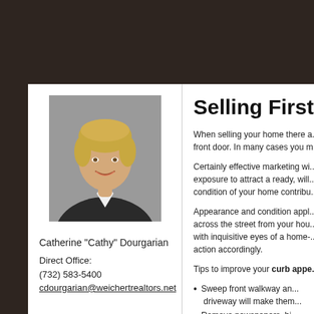[Figure (photo): Headshot of Catherine 'Cathy' Dourgarian, a woman with short blonde hair wearing a black jacket and white shirt, smiling, against a gray background.]
Catherine "Cathy" Dourgarian
Direct Office:
(732) 583-5400
cdourgarian@weichertrealtors.net
Selling First I...
When selling your home there a... front door. In many cases you m...
Certainly effective marketing wi... exposure to attract a ready, will... condition of your home contribu...
Appearance and condition appl... across the street from your hou... with inquisitive eyes of a home-... action accordingly.
Tips to improve your curb appe...
Sweep front walkway an... driveway will make them...
Remove newspapers, bi...
Park extra cars away fro...
Trim back the shrubs.